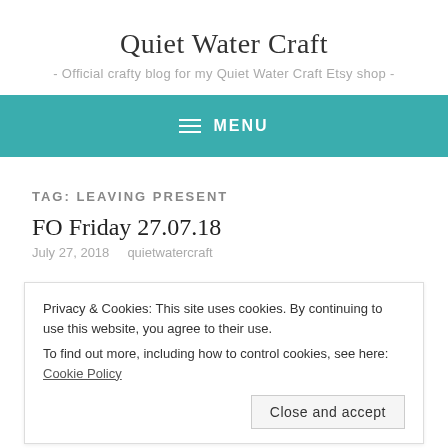Quiet Water Craft
- Official crafty blog for my Quiet Water Craft Etsy shop -
MENU
TAG: LEAVING PRESENT
FO Friday 27.07.18
July 27, 2018   quietwatercraft
Privacy & Cookies: This site uses cookies. By continuing to use this website, you agree to their use.
To find out more, including how to control cookies, see here: Cookie Policy
Close and accept
when I saw a pretty silver stag necklace I bought it without a